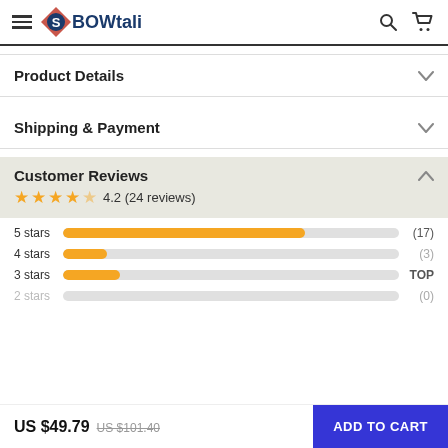BOWtali
Product Details
Shipping & Payment
Customer Reviews — 4.2 (24 reviews)
| Rating | Bar | Count |
| --- | --- | --- |
| 5 stars | ~71% | (17) |
| 4 stars | ~13% | (3) |
| 3 stars | ~16% | (TOP) |
| 2 stars | ~0% | (0) |
US $49.79  US $101.40  ADD TO CART